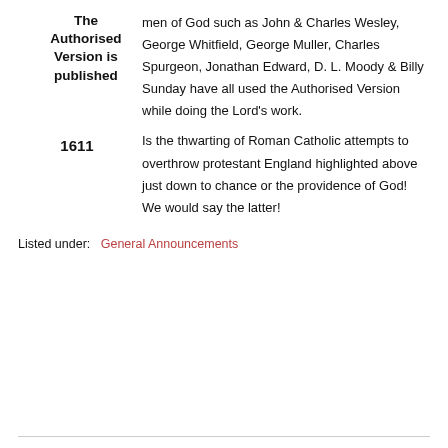1611 The Authorised Version is published
men of God such as John & Charles Wesley, George Whitfield, George Muller, Charles Spurgeon, Jonathan Edward, D. L. Moody & Billy Sunday have all used the Authorised Version while doing the Lord's work.
Is the thwarting of Roman Catholic attempts to overthrow protestant England highlighted above just down to chance or the providence of God! We would say the latter!
Listed under:  General Announcements